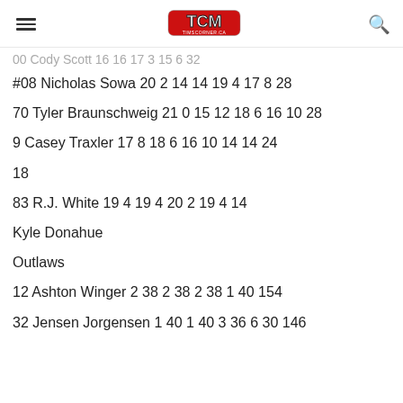TCM timscorner.ca
00 Cody Scott 16 16 17 3 15 6 32
#08 Nicholas Sowa 20 2 14 14 19 4 17 8 28
70 Tyler Braunschweig 21 0 15 12 18 6 16 10 28
9 Casey Traxler 17 8 18 6 16 10 14 14 24
18
83 R.J. White 19 4 19 4 20 2 19 4 14
Kyle Donahue
Outlaws
12 Ashton Winger 2 38 2 38 2 38 1 40 154
32 Jensen Jorgensen 1 40 1 40 3 36 6 30 146